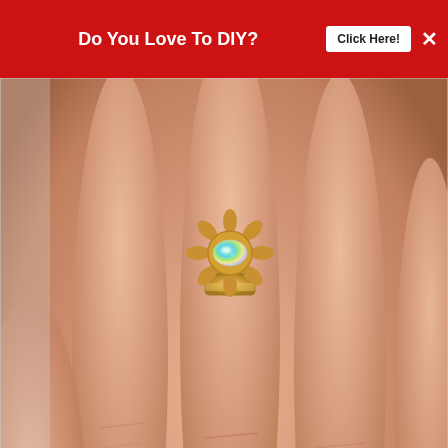[Figure (other): Red advertisement banner at top: 'Do You Love To DIY?' with 'Click Here!' button and X close button]
[Figure (photo): Close-up photo of a hand wearing a vintage gold ring with an opal gemstone set in a decorative sunburst/flower setting. Text overlay reads 'Exquisitely Unremarkable'. Heart and share icons visible on right side.]
Exquisitely Unremarkable
[Figure (other): What's Next widget showing circular avatar with text 'You See Grief' and 'WHAT'S NEXT → Can You See Grief?']
[Figure (other): Advertisement banner: 'It's time to talk about Alzheimer's.' with 'LEARN MORE' button and Alzheimer's Association logo]